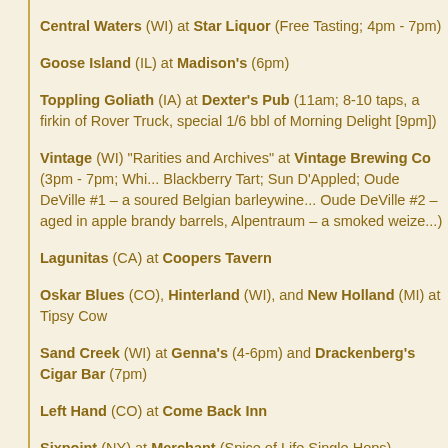Central Waters (WI) at Star Liquor (Free Tasting; 4pm - 7pm)
Goose Island (IL) at Madison's (6pm)
Toppling Goliath (IA) at Dexter's Pub (11am; 8-10 taps, a firkin of Rover Tru... special 1/6 bbl of Morning Delight [9pm])
Vintage (WI) "Rarities and Archives" at Vintage Brewing Co (3pm - 7pm; Whi... Blackberry Tart; Sun D'Appled; Oude DeVille #1 – a soured Belgian barleywine... Oude DeVille #2 – aged in apple brandy barrels, Alpentraum – a smoked weize...
Lagunitas (CA) at Coopers Tavern
Oskar Blues (CO), Hinterland (WI), and New Holland (MI) at Tipsy Cow
Sand Creek (WI) at Genna's (4-6pm) and Drackenberg's Cigar Bar (7pm)
Left Hand (CO) at Come Back Inn
Sixpoint (NY) at Merchant (Spice of Life Single Hops)
Dark Horse (MI) at Alchemy
Summit Brewing Co (MN) at The Echo Tap (7pm)
House of Brews (WI) at House of Brews (Tours starting at 3pm) and also Lu...